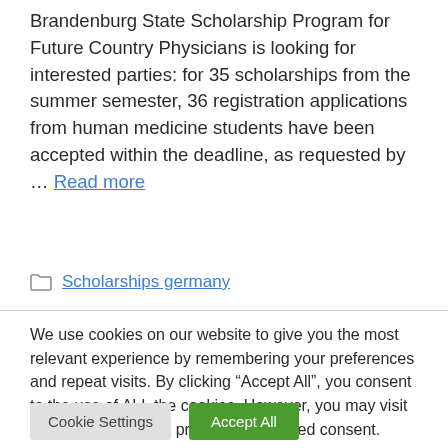Brandenburg State Scholarship Program for Future Country Physicians is looking for interested parties: for 35 scholarships from the summer semester, 36 registration applications from human medicine students have been accepted within the deadline, as requested by … Read more
Scholarships germany
We use cookies on our website to give you the most relevant experience by remembering your preferences and repeat visits. By clicking "Accept All", you consent to the use of ALL the cookies. However, you may visit "Cookie Settings" to provide a controlled consent.